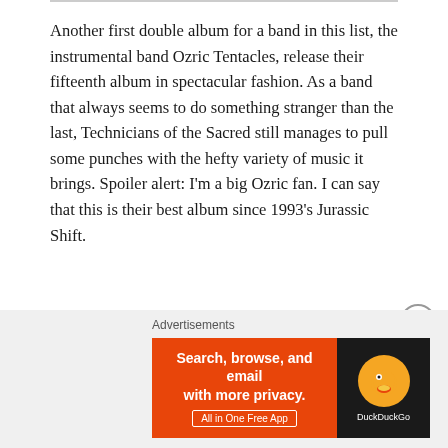Another first double album for a band in this list, the instrumental band Ozric Tentacles, release their fifteenth album in spectacular fashion. As a band that always seems to do something stranger than the last, Technicians of the Sacred still manages to pull some punches with the hefty variety of music it brings. Spoiler alert: I'm a big Ozric fan. I can say that this is their best album since 1993's Jurassic Shift.
Listen to the full album:
[Figure (other): DuckDuckGo advertisement banner with orange left panel reading 'Search, browse, and email with more privacy. All in One Free App' and dark right panel with DuckDuckGo logo]